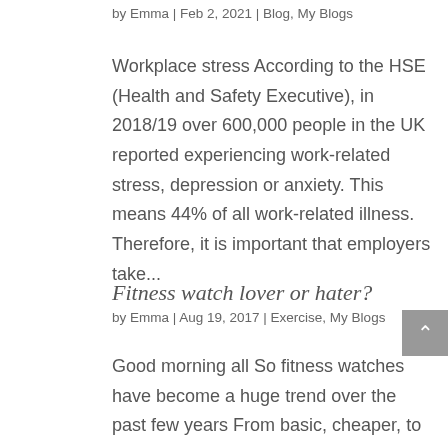by Emma | Feb 2, 2021 | Blog, My Blogs
Workplace stress According to the HSE (Health and Safety Executive), in 2018/19 over 600,000 people in the UK reported experiencing work-related stress, depression or anxiety. This means 44% of all work-related illness. Therefore, it is important that employers take...
Fitness watch lover or hater?
by Emma | Aug 19, 2017 | Exercise, My Blogs
Good morning all So fitness watches have become a huge trend over the past few years From basic, cheaper, to very high tech, expensive ones And people are loving